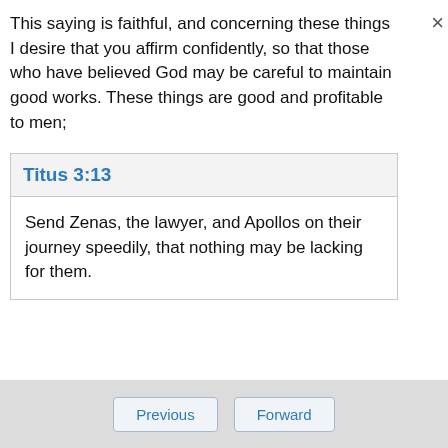This saying is faithful, and concerning these things I desire that you affirm confidently, so that those who have believed God may be careful to maintain good works. These things are good and profitable to men;
Titus 3:13
Send Zenas, the lawyer, and Apollos on their journey speedily, that nothing may be lacking for them.
Previous  Forward